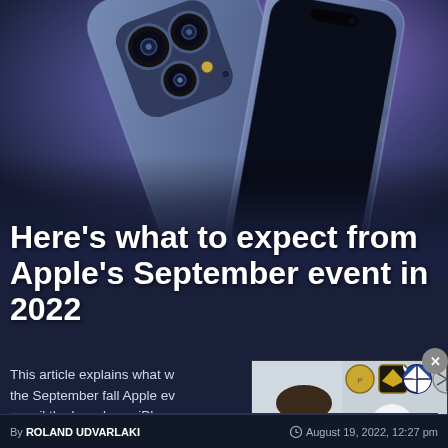[Figure (photo): Two iPhone 14 Pro concept/render images against a purple-blue gradient background — one showing the rear with triple camera system, one showing the front screen edge]
Here's what to expect from Apple's September event in 2022
This article explains what w... the September fall Apple ev... unveil the brand new iPhone... iPhone 14 Pro, and iPhone... the Apple Watch Series 8, t... wireless...
[Figure (screenshot): Video overlay thumbnail showing a person with car brand logos (Porsche, Lamborghini, BMW, Mercedes) and 'DAILY.' text branding, with a play button]
By ROLAND UDVARLAKI   August 19, 2022, 12:27 pm